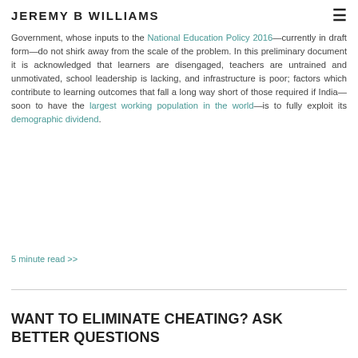JEREMY B WILLIAMS
The education system is in trouble and everybody knows it, not least of whom is the Government, whose inputs to the National Education Policy 2016—currently in draft form—do not shirk away from the scale of the problem. In this preliminary document it is acknowledged that learners are disengaged, teachers are untrained and unmotivated, school leadership is lacking, and infrastructure is poor; factors which contribute to learning outcomes that fall a long way short of those required if India—soon to have the largest working population in the world—is to fully exploit its demographic dividend.
5 minute read >>
WANT TO ELIMINATE CHEATING? ASK BETTER QUESTIONS